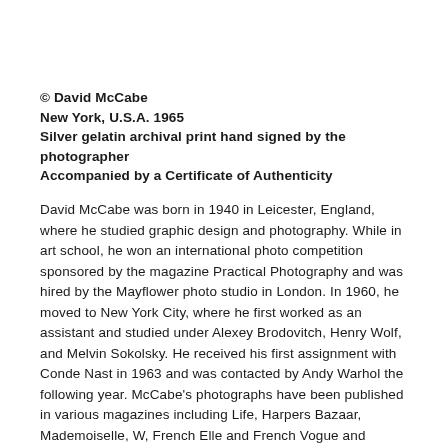© David McCabe
New York, U.S.A. 1965
Silver gelatin archival print hand signed by the photographer
Accompanied by a Certificate of Authenticity
David McCabe was born in 1940 in Leicester, England, where he studied graphic design and photography. While in art school, he won an international photo competition sponsored by the magazine Practical Photography and was hired by the Mayflower photo studio in London. In 1960, he moved to New York City, where he first worked as an assistant and studied under Alexey Brodovitch, Henry Wolf, and Melvin Sokolsky. He received his first assignment with Conde Nast in 1963 and was contacted by Andy Warhol the following year. McCabe's photographs have been published in various magazines including Life, Harpers Bazaar, Mademoiselle, W, French Elle and French Vogue and London Times to name a few.